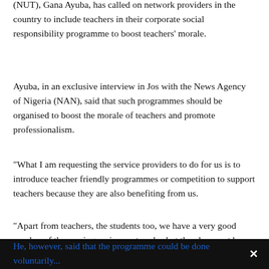(NUT), Gana Ayuba, has called on network providers in the country to include teachers in their corporate social responsibility programme to boost teachers' morale.
Ayuba, in an exclusive interview in Jos with the News Agency of Nigeria (NAN), said that such programmes should be organised to boost the morale of teachers and promote professionalism.
“What I am requesting the service providers to do for us is to introduce teacher friendly programmes or competition to support teachers because they are also benefiting from us.
“Apart from teachers, the students too, we have a very good number of them using various networks, but they have not been benefiting from them directly,” Ayuba said.
He, however, said that the programme could be done voluntarily...